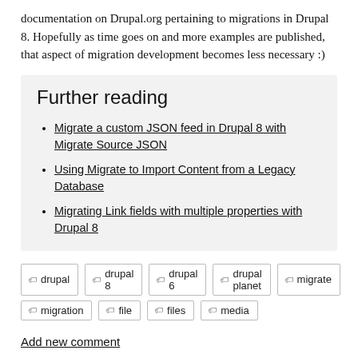documentation on Drupal.org pertaining to migrations in Drupal 8. Hopefully as time goes on and more examples are published, that aspect of migration development becomes less necessary :)
Further reading
Migrate a custom JSON feed in Drupal 8 with Migrate Source JSON
Using Migrate to Import Content from a Legacy Database
Migrating Link fields with multiple properties with Drupal 8
drupal  drupal 8  drupal 6  drupal planet  migrate  migration  file  files  media
Add new comment